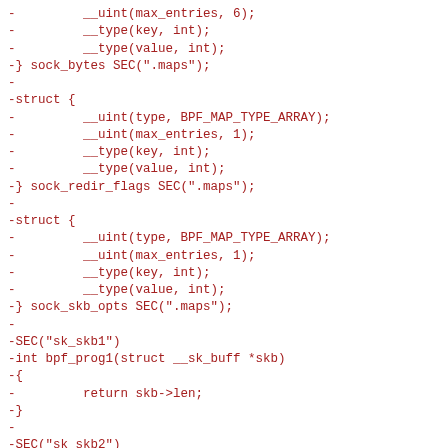-         __uint(max_entries, 6);
-         __type(key, int);
-         __type(value, int);
-} sock_bytes SEC(".maps");
-
-struct {
-         __uint(type, BPF_MAP_TYPE_ARRAY);
-         __uint(max_entries, 1);
-         __type(key, int);
-         __type(value, int);
-} sock_redir_flags SEC(".maps");
-
-struct {
-         __uint(type, BPF_MAP_TYPE_ARRAY);
-         __uint(max_entries, 1);
-         __type(key, int);
-         __type(value, int);
-} sock_skb_opts SEC(".maps");
-
-SEC("sk_skb1")
-int bpf_prog1(struct __sk_buff *skb)
-{
-         return skb->len;
-}
-
-SEC("sk_skb2")
-int bpf_prog2(struct __sk_buff *skb)
-{
-         __u32 lport = skb->local_port;
-         __u32 rport = skb->remote_port;